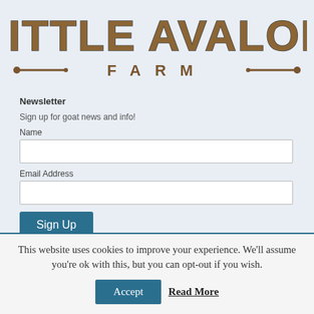[Figure (logo): Little Avalon Farm logo with large bold serif text 'LITTLE AVALON' and stylized '—FARM—' text with decorative dashes]
Newsletter
Sign up for goat news and info!
Name
Email Address
Sign Up
This website uses cookies to improve your experience. We'll assume you're ok with this, but you can opt-out if you wish.
Accept
Read More